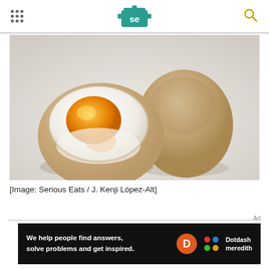Serious Eats logo header with navigation dots and search icon
[Figure (photo): A soft-boiled ramen egg (ajitsuke tamago) shown cut in half revealing a jammy orange yolk, alongside the other intact half, both with a tan-brown marinated exterior, on a white surface. Photo credit: Serious Eats / J. Kenji López-Alt]
[Image: Serious Eats / J. Kenji López-Alt]
[Figure (infographic): Advertisement banner: 'We help people find answers, solve problems and get inspired.' with Dotdash Meredith branding on black background]